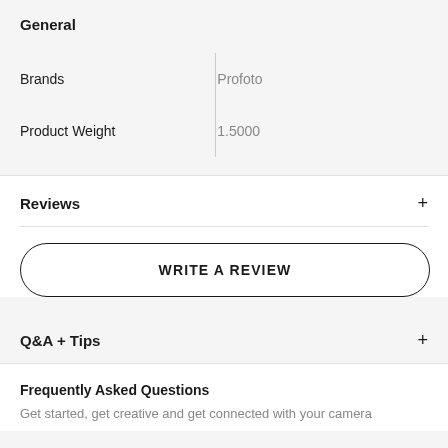General
|  |  |  |
| --- | --- | --- |
| Brands |  | Profoto |
| Product Weight |  | 1.5000 |
Reviews
WRITE A REVIEW
Q&A + Tips
Frequently Asked Questions
Get started, get creative and get connected with your camera